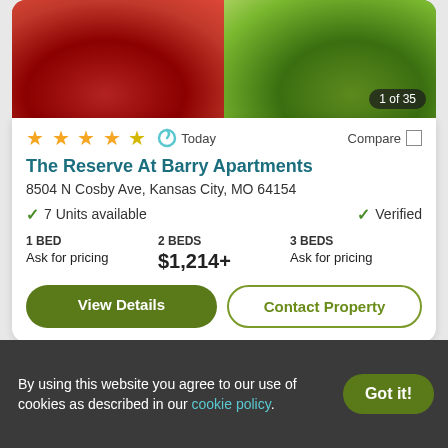[Figure (photo): Apartment exterior photo showing red and green shrubs, with image counter '1 of 35' in bottom right]
★★★★★ (4.5 stars) | Today | Compare
The Reserve At Barry Apartments
8504 N Cosby Ave, Kansas City, MO 64154
✓ 7 Units available    ✓ Verified
1 BED
Ask for pricing
2 BEDS
$1,214+
3 BEDS
Ask for pricing
View Details | Contact Property
[Figure (other): Second apartment listing card (partially visible, gray background with heart/favorite button)]
By using this website you agree to our use of cookies as described in our cookie policy.
Got it!